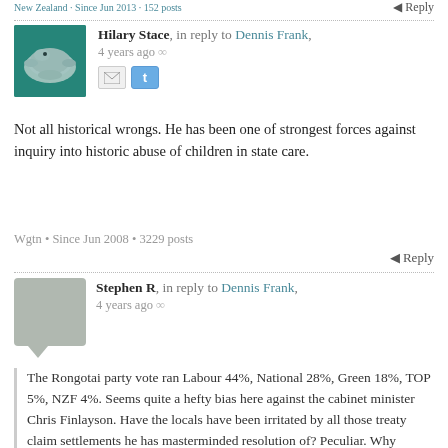New Zealand · Since Jun 2013 · 152 posts
Reply
Hilary Stace, in reply to Dennis Frank, 4 years ago
[Figure (photo): Avatar photo of a manatee/dugong underwater, teal-green background]
Not all historical wrongs. He has been one of strongest forces against inquiry into historic abuse of children in state care.
Wgtn • Since Jun 2008 • 3229 posts
Reply
Stephen R, in reply to Dennis Frank, 4 years ago
[Figure (illustration): Grey speech bubble avatar placeholder for Stephen R]
The Rongotai party vote ran Labour 44%, National 28%, Green 18%, TOP 5%, NZF 4%. Seems quite a hefty bias here against the cabinet minister Chris Finlayson. Have the locals have been irritated by all those treaty claim settlements he has masterminded resolution of? Peculiar. Why punish someone who is righting all